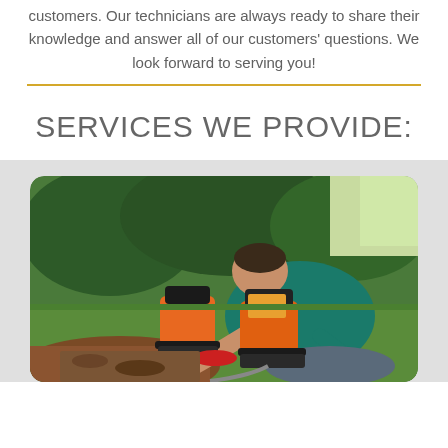customers. Our technicians are always ready to share their knowledge and answer all of our customers' questions. We look forward to serving you!
SERVICES WE PROVIDE:
[Figure (photo): A technician in a green shirt kneeling on grass, working in a hole in the ground with pipe inspection/camera equipment — two orange-handled machines visible on the lawn beside him.]